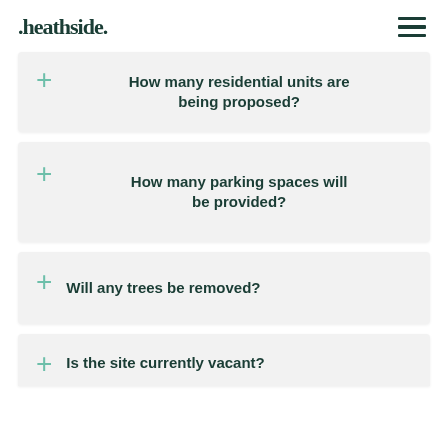.heathside.
How many residential units are being proposed?
How many parking spaces will be provided?
Will any trees be removed?
Is the site currently vacant?